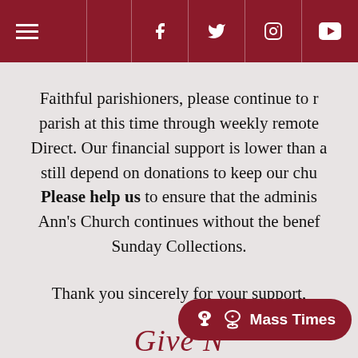Navigation bar with hamburger menu and social icons: Facebook, Twitter, Instagram, YouTube
Faithful parishioners, please continue to r... parish at this time through weekly remote ... Direct. Our financial support is lower than a... still depend on donations to keep our chu... Please help us to ensure that the adminis... Ann's Church continues without the benef... Sunday Collections.
Thank you sincerely for your support,
[Figure (other): Mass Times button with chalice icon]